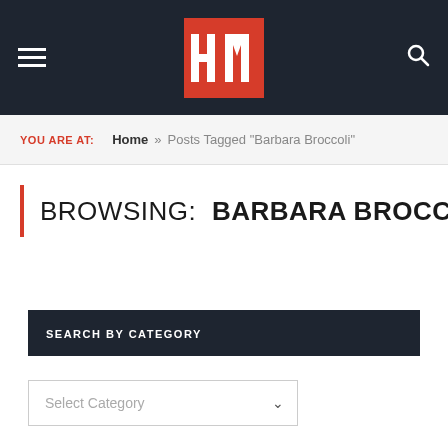[Figure (logo): HM logo in white text on red square background, inside dark navy navigation bar with hamburger menu on left and search icon on right]
YOU ARE AT:  Home » Posts Tagged "Barbara Broccoli"
BROWSING:  BARBARA BROCCOLI
SEARCH BY CATEGORY
Select Category